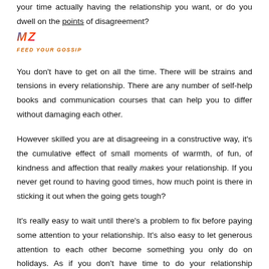your time actually having the relationship you want, or do you dwell on the points of disagreement?
[Figure (logo): Colorful logo with 'MZ' text in blue/orange/pink gradient colors, with 'Feed Your Gossip' text below in orange italic font]
You don't have to get on all the time. There will be strains and tensions in every relationship. There are any number of self-help books and communication courses that can help you to differ without damaging each other.
However skilled you are at disagreeing in a constructive way, it's the cumulative effect of small moments of warmth, of fun, of kindness and affection that really makes your relationship. If you never get round to having good times, how much point is there in sticking it out when the going gets tough?
It's really easy to wait until there's a problem to fix before paying some attention to your relationship. It's also easy to let generous attention to each other become something you only do on holidays. As if you don't have time to do your relationship because you're thinking it has to be a big